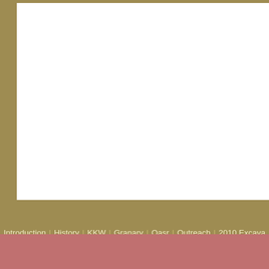[Figure (screenshot): White content area with olive/tan border on left and top, part of a website layout]
Introduction | History | KKW | Granary | Qasr | Outreach | 2010 Excava  What's New? | Sponsors | 2007 and 2009 Seasons | Picture Gall